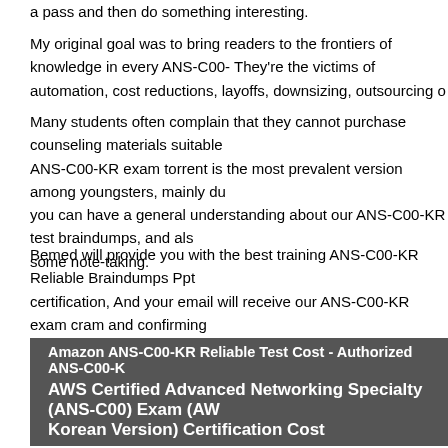a pass and then do something interesting.
My original goal was to bring readers to the frontiers of knowledge in every ANS-C00-KR. They're the victims of automation, cost reductions, layoffs, downsizing, outsourcing or
Many students often complain that they cannot purchase counseling materials suitable ANS-C00-KR exam torrent is the most prevalent version among youngsters, mainly du you can have a general understanding about our ANS-C00-KR test braindumps, and als some note-taking.
Bemed will provide you with the best training ANS-C00-KR Reliable Braindumps Ppt certification, And your email will receive our ANS-C00-KR exam cram and confirming password website automatically for your better pass4cram using.
Amazon ANS-C00-KR Reliable Test Cost - Authorized ANS-C00-K AWS Certified Advanced Networking Specialty (ANS-C00) Exam (AW Korean Version) Certification Cost
Firstly, all the contents are seriously compiled by our professional experts, Premier cer passing-rate ANS-C00-KR exam guide materials, on the one hand we have professiona Simulation and skilled education experts, and on the other we have the best reliable, va
Wherever you are, as long as you have an access to the internet, a smart phone or an I-p KR exam. To be recognized as the leading international exam study material compan